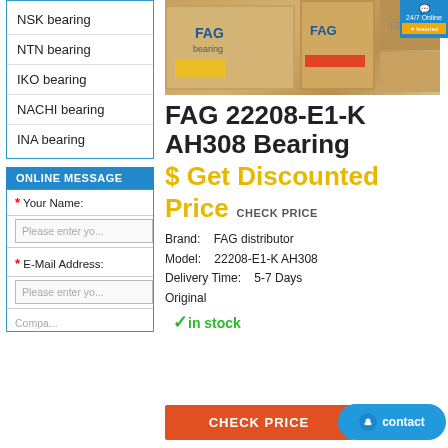NSK bearing
NTN bearing
IKO bearing
NACHI bearing
INA bearing
ONLINE MESSAGE
* Your Name:
Please enter you
* E-Mail Address:
Please enter you
[Figure (photo): FAG bearing boxes stacked, showing FAG brand packaging in brown cardboard boxes]
FAG 22208-E1-K AH308 Bearing
$ Get Discounted Price  CHECK PRICE
Brand:    FAG distributor
Model:    22208-E1-K AH308
Delivery Time:    5-7 Days
Original
✓in stock
CHECK PRICE
contact